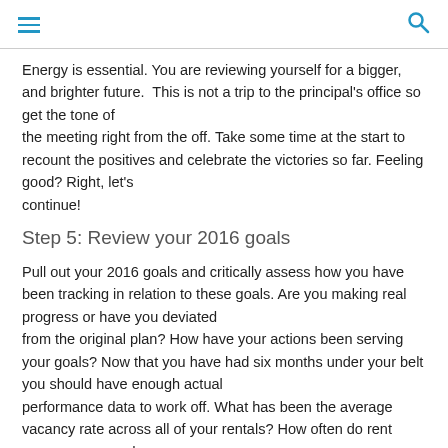[hamburger menu icon] [search icon]
Energy is essential. You are reviewing yourself for a bigger, and brighter future.  This is not a trip to the principal's office so get the tone of the meeting right from the off. Take some time at the start to recount the positives and celebrate the victories so far. Feeling good? Right, let's continue!
Step 5: Review your 2016 goals
Pull out your 2016 goals and critically assess how you have been tracking in relation to these goals. Are you making real progress or have you deviated from the original plan? How have your actions been serving your goals? Now that you have had six months under your belt you should have enough actual performance data to work off. What has been the average vacancy rate across all of your rentals? How often do rent arrears occur and